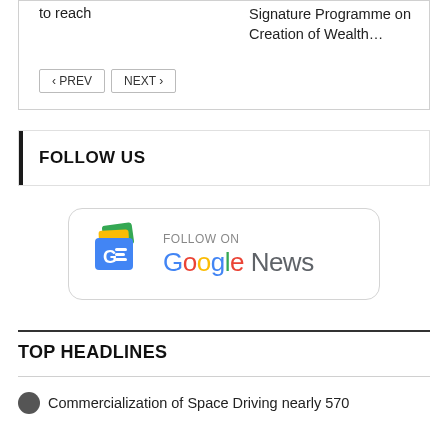to reach
Signature Programme on Creation of Wealth…
< PREV    NEXT >
FOLLOW US
[Figure (logo): Follow on Google News banner with Google News icon and colored Google News text]
TOP HEADLINES
Commercialization of Space Driving nearly 570